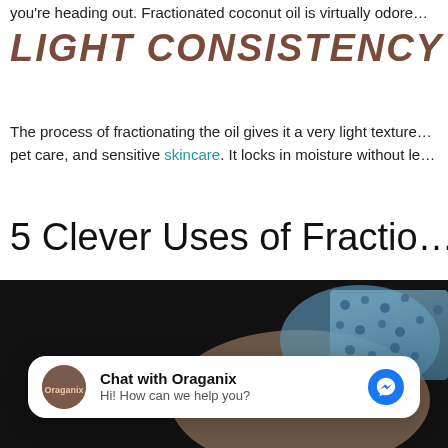you're heading out. Fractionated coconut oil is virtually odore…
LIGHT CONSISTENCY
The process of fractionating the oil gives it a very light texture… pet care, and sensitive skincare. It locks in moisture without le…
5 Clever Uses of Fractio…
[Figure (photo): Close-up photo of a person's skin/body with a blue patterned fabric, dark background]
Chat with Oraganix
Hi! How can we help you?